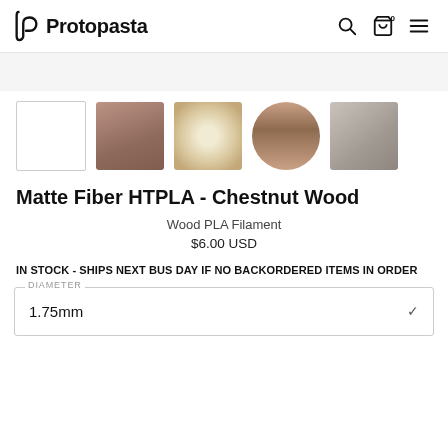Protopasta
[Figure (photo): Product thumbnails: blank white selected thumbnail, brown filament block, cream/beige spool, brown roll of filament, gray printed object]
Matte Fiber HTPLA - Chestnut Wood
Wood PLA Filament
$6.00 USD
IN STOCK - SHIPS NEXT BUS DAY IF NO BACKORDERED ITEMS IN ORDER
DIAMETER
1.75mm